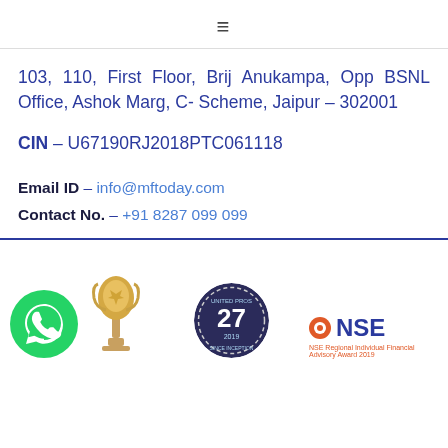≡
103, 110, First Floor, Brij Anukampa, Opp BSNL Office, Ashok Marg, C- Scheme, Jaipur – 302001
CIN – U67190RJ2018PTC061118
Email ID – info@mftoday.com
Contact No. – +91 8287 099 099
[Figure (logo): WhatsApp green circle logo, a trophy award figure, a circular badge with '27' and '2019', and NSE logo with 'NSE Regional Individual Financial Advisory Award 2019' text]